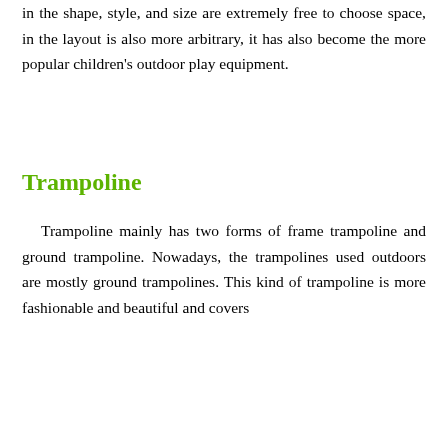in the shape, style, and size are extremely free to choose space, in the layout is also more arbitrary, it has also become the more popular children's outdoor play equipment.
Trampoline
Trampoline mainly has two forms of frame trampoline and ground trampoline. Nowadays, the trampolines used outdoors are mostly ground trampolines. This kind of trampoline is more fashionable and beautiful and covers